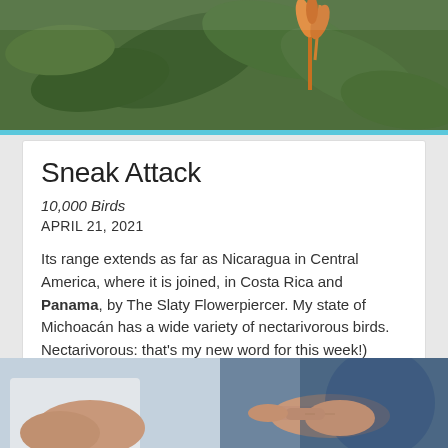[Figure (photo): Close-up photo of green plant leaves and orange flower or stem against blurred background]
Sneak Attack
10,000 Birds
APRIL 21, 2021
Its range extends as far as Nicaragua in Central America, where it is joined, in Costa Rica and Panama, by The Slaty Flowerpiercer. My state of Michoacán has a wide variety of nectarivorous birds. Nectarivorous: that's my new word for this week!) Most, of course, are hummingbirds.
[Figure (photo): Photo of two people's hands, one pointing with index finger toward the other person]